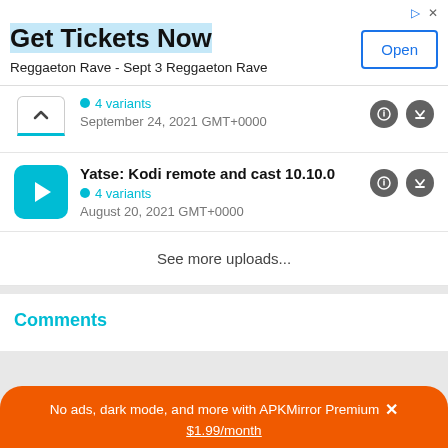[Figure (screenshot): Advertisement banner: Get Tickets Now - Reggaeton Rave - Sept 3 Reggaeton Rave with Open button]
4 variants
September 24, 2021 GMT+0000
Yatse: Kodi remote and cast 10.10.0
4 variants
August 20, 2021 GMT+0000
See more uploads...
Comments
No ads, dark mode, and more with APKMirror Premium × $1.99/month